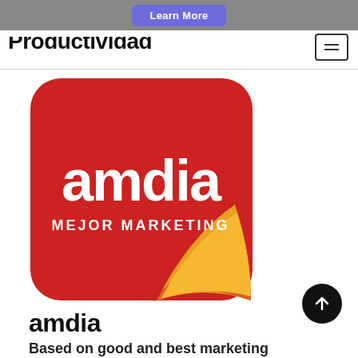Learn More
Productividad
[Figure (logo): Amdia logo: red rounded square with white text 'amdia' in large bold font, 'MEJOR MARKETING' in smaller white caps below, with a curled golden/yellow corner at the bottom-right of the square.]
amdia
Based on good and best marketing